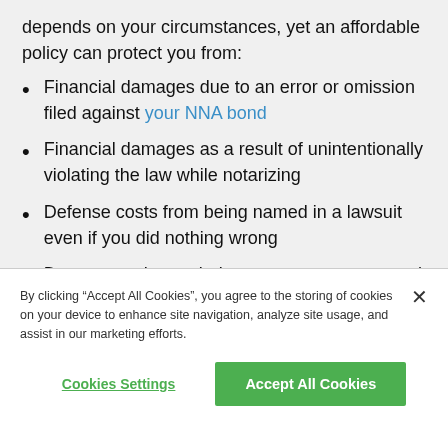depends on your circumstances, yet an affordable policy can protect you from:
Financial damages due to an error or omission filed against your NNA bond
Financial damages as a result of unintentionally violating the law while notarizing
Defense costs from being named in a lawsuit even if you did nothing wrong
Damages, when unbeknownst to you, your seal
By clicking "Accept All Cookies", you agree to the storing of cookies on your device to enhance site navigation, analyze site usage, and assist in our marketing efforts.
Cookies Settings | Accept All Cookies